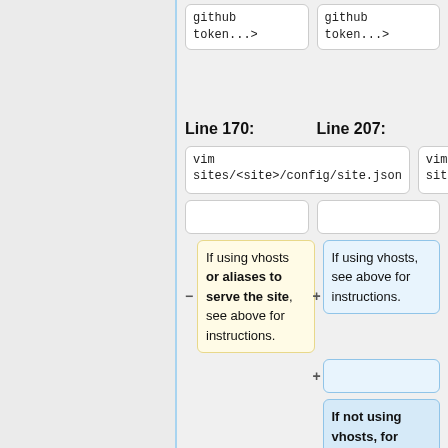[Figure (screenshot): A code diff view showing two columns: Line 170 (left, yellow highlighted) and Line 207 (right, blue highlighted). Both show 'vim sites/<site>/config/site.json' code blocks. The left column has a yellow diff block: 'If using vhosts or aliases to serve the site, see above for instructions.' The right column has blue diff blocks: 'If using vhosts, see above for instructions.' and an added empty block, and 'If not using vhosts, for local development, edit your Apache config to alias the site']